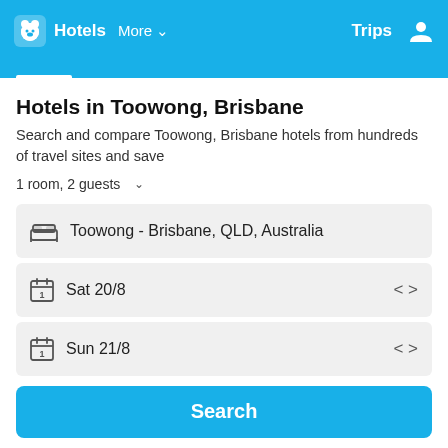Hotels  More  Trips
Hotels in Toowong, Brisbane
Search and compare Toowong, Brisbane hotels from hundreds of travel sites and save
1 room, 2 guests
Toowong - Brisbane, QLD, Australia
Sat 20/8
Sun 21/8
Search